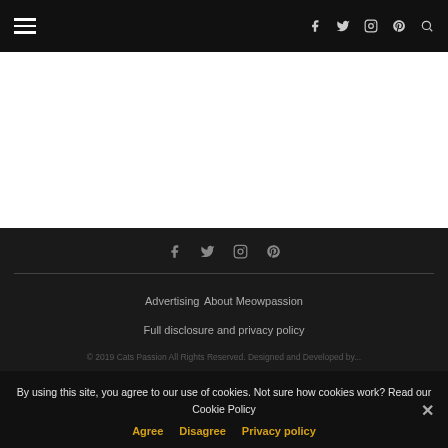Navigation bar with hamburger menu and social icons (f, twitter, instagram, pinterest, search)
[Figure (screenshot): White content area placeholder]
Social icons: f, twitter, instagram, pinterest; Advertising | About Meowpassion | Full disclosure and privacy policy; Copyright line (partially visible)
By using this site, you agree to our use of cookies. Not sure how cookies work? Read our Cookie Policy
Agree   Disagree   Privacy policy